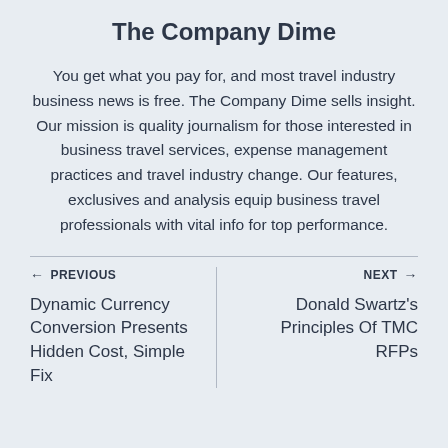The Company Dime
You get what you pay for, and most travel industry business news is free. The Company Dime sells insight. Our mission is quality journalism for those interested in business travel services, expense management practices and travel industry change. Our features, exclusives and analysis equip business travel professionals with vital info for top performance.
← PREVIOUS
Dynamic Currency Conversion Presents Hidden Cost, Simple Fix
NEXT →
Donald Swartz's Principles Of TMC RFPs